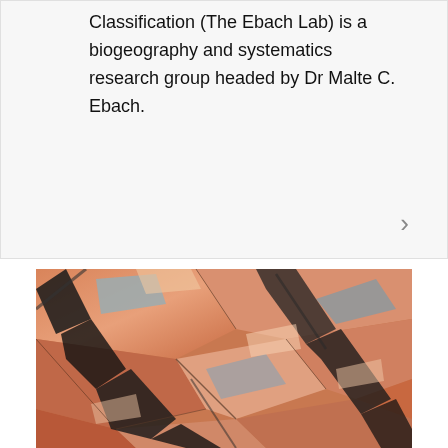Classification (The Ebach Lab) is a biogeography and systematics research group headed by Dr Malte C. Ebach.
[Figure (photo): Close-up photograph of layered sedimentary rocks showing flat, fractured slabs in orange, salmon, and grey tones with dark mineral veins running through them diagonally.]